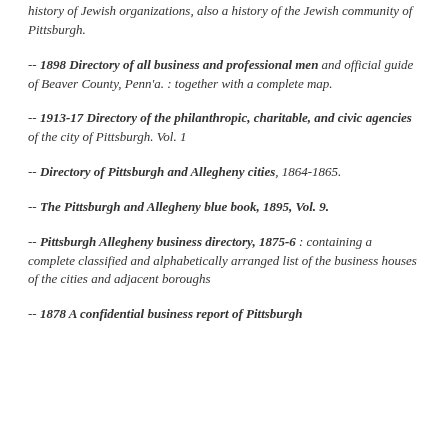history of Jewish organizations, also a history of the Jewish community of Pittsburgh.
-- 1898 Directory of all business and professional men and official guide of Beaver County, Penn'a. : together with a complete map.
-- 1913-17 Directory of the philanthropic, charitable, and civic agencies of the city of Pittsburgh. Vol. 1
-- Directory of Pittsburgh and Allegheny cities, 1864-1865.
-- The Pittsburgh and Allegheny blue book, 1895, Vol. 9.
-- Pittsburgh Allegheny business directory, 1875-6 : containing a complete classified and alphabetically arranged list of the business houses of the cities and adjacent boroughs
-- 1878 A confidential business report of Pittsburgh